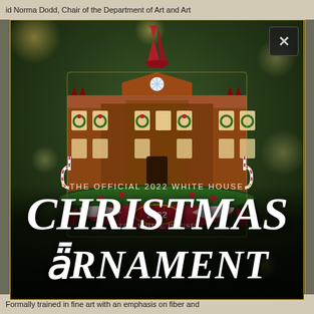id Norma Dodd, Chair of the Department of Art and Art
[Figure (photo): The Official 2022 White House Christmas Ornament product photo. A decorative enamel ornament shaped like the White House rendered as a gingerbread house with candy canes, wreaths, festive garland, and a red ribbon hanger. A red oval badge reads '2022' and a pink banner below reads 'THE WHITE HOUSE'. Background is a dark green bokeh Christmas tree. A close (X) button is visible in the upper right corner.]
THE OFFICIAL 2022 WHITE HOUSE
CHRISTMAS ORNAMENT
Formally trained in fine art with an emphasis on fiber and